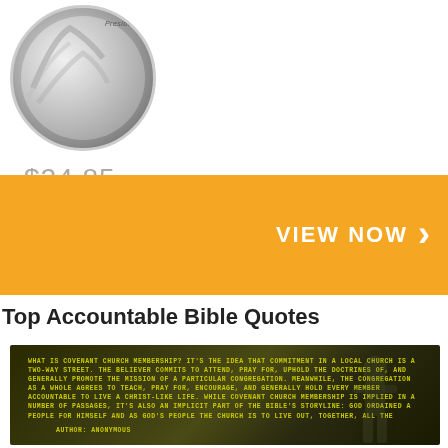[Figure (photo): Silver commemorative coin with embossed design, partially visible at top left]
$24.85
[Figure (infographic): Orange banner with VIEW NOW button and chevron arrow]
Top Accountable Bible Quotes
[Figure (photo): Dark olive green background image with yellow-green uppercase text quote about covenant church membership. Author: Anonymous]